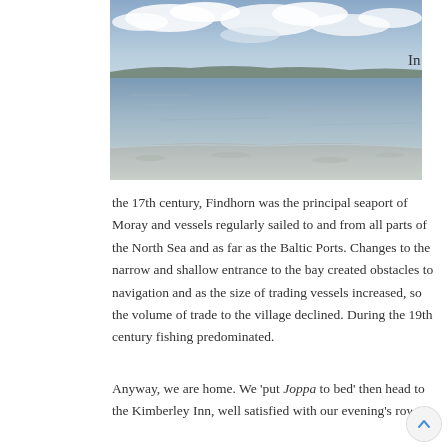[Figure (photo): A coastal scene showing a calm bay or estuary with water reflecting light, a pebbly/sandy shoreline in the foreground, and rolling hills or land visible in the far background under a partly cloudy sky.]
In the 17th century, Findhorn was the principal seaport of Moray and vessels regularly sailed to and from all parts of the North Sea and as far as the Baltic Ports. Changes to the narrow and shallow entrance to the bay created obstacles to navigation and as the size of trading vessels increased, so the volume of trade to the village declined. During the 19th century fishing predominated.
Anyway, we are home. We 'put Joppa to bed' then head to the Kimberley Inn, well satisfied with our evening's row!